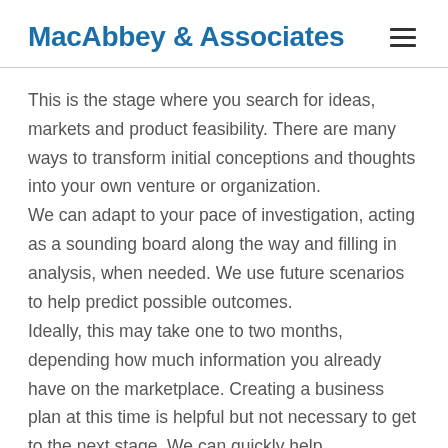MacAbbey & Associates
This is the stage where you search for ideas, markets and product feasibility. There are many ways to transform initial conceptions and thoughts into your own venture or organization.
We can adapt to your pace of investigation, acting as a sounding board along the way and filling in analysis, when needed. We use future scenarios to help predict possible outcomes.
Ideally, this may take one to two months, depending how much information you already have on the marketplace. Creating a business plan at this time is helpful but not necessary to get to the next stage. We can quickly help